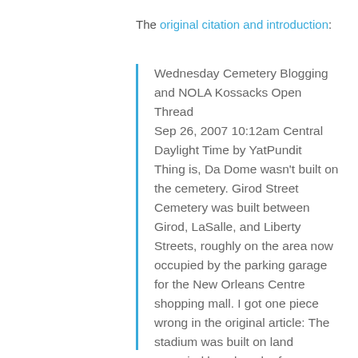The original citation and introduction:
Wednesday Cemetery Blogging and NOLA Kossacks Open Thread Sep 26, 2007 10:12am Central Daylight Time by YatPundit Thing is, Da Dome wasn't built on the cemetery. Girod Street Cemetery was built between Girod, LaSalle, and Liberty Streets, roughly on the area now occupied by the parking garage for the New Orleans Centre shopping mall. I got one piece wrong in the original article: The stadium was built on land occupied by a bunch of warehouses and other commercial buildings. The engine terminal was on the other side of Union Passenger Terminal.